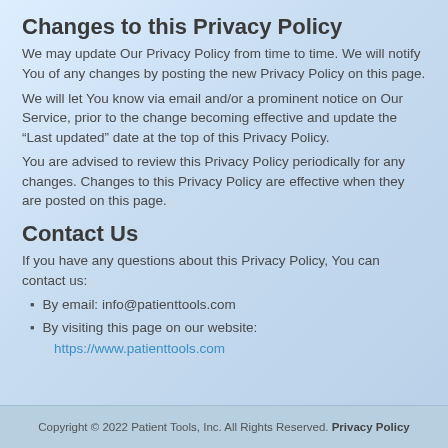Changes to this Privacy Policy
We may update Our Privacy Policy from time to time. We will notify You of any changes by posting the new Privacy Policy on this page.
We will let You know via email and/or a prominent notice on Our Service, prior to the change becoming effective and update the “Last updated” date at the top of this Privacy Policy.
You are advised to review this Privacy Policy periodically for any changes. Changes to this Privacy Policy are effective when they are posted on this page.
Contact Us
If you have any questions about this Privacy Policy, You can contact us:
By email: info@patienttools.com
By visiting this page on our website:
https://www.patienttools.com
Copyright © 2022 Patient Tools, Inc. All Rights Reserved. Privacy Policy